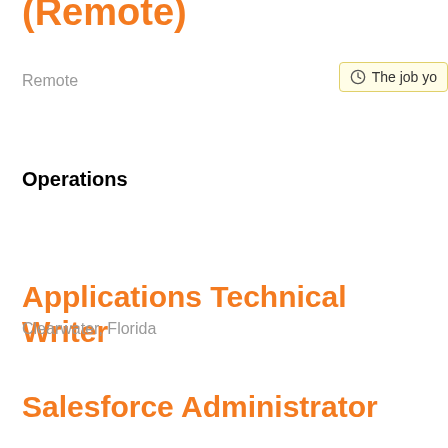(Remote)
Remote
Operations
Applications Technical Writer
Clearwater, Florida
Salesforce Administrator
Clearwater, Florida
Other
Customer Success Growth Manager (Position located in